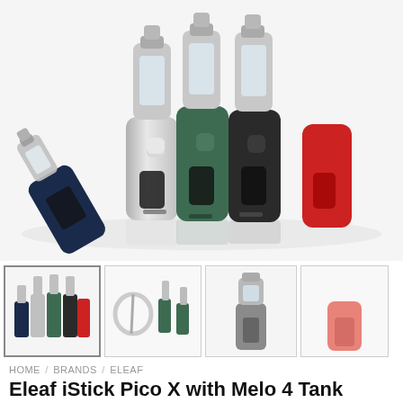[Figure (photo): Product photo of Eleaf iStick Pico X vape mods in multiple colors (navy, silver, green, black, red) with Melo 4 tanks on white background]
[Figure (photo): Thumbnail 1: group shot of all color variants with tanks]
[Figure (photo): Thumbnail 2: kit contents with accessories, cables, green mod]
[Figure (photo): Thumbnail 3: gray single mod with tank]
[Figure (photo): Thumbnail 4: coral/pink single mod without tank]
HOME / BRANDS / ELEAF
Eleaf iStick Pico X with Melo 4 Tank